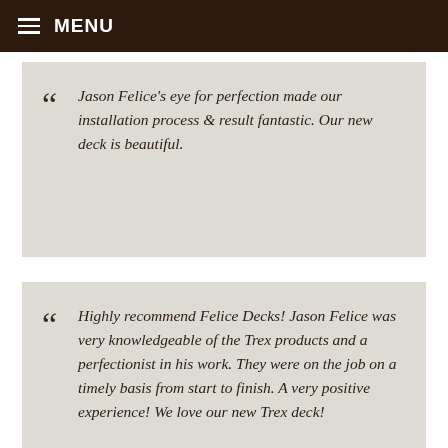MENU
Jason Felice’s eye for perfection made our installation process & result fantastic. Our new deck is beautiful.
Highly recommend Felice Decks! Jason Felice was very knowledgeable of the Trex products and a perfectionist in his work. They were on the job on a timely basis from start to finish. A very positive experience! We love our new Trex deck!